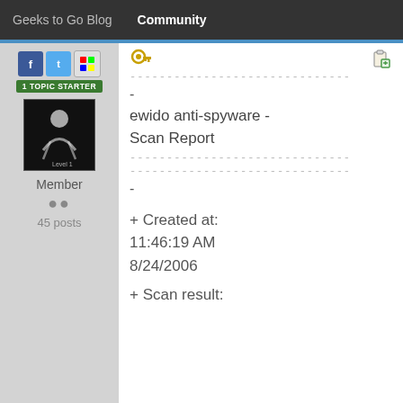Geeks to Go Blog   Community
TOPIC STARTER
Member
45 posts
- - - - - - - - - - - - - - - - - - - - - - - - - - - - - - -
-
ewido anti-spyware - Scan Report
- - - - - - - - - - - - - - - - - - - - - - - - - - - - - - -
- - - - - - - - - - - - - - - - - - - - - - - - - - - - - - -
-
+ Created at: 11:46:19 AM 8/24/2006
+ Scan result: